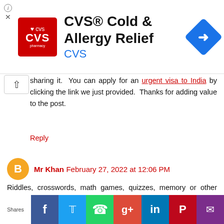[Figure (other): CVS Pharmacy advertisement banner with CVS logo, text 'CVS® Cold & Allergy Relief', 'CVS' in blue, and a blue navigation/direction icon on the right]
sharing it. You can apply for an urgent visa to India by clicking the link we just provided. Thanks for adding value to the post.
Reply
Mr Khan  February 27, 2022 at 12:06 PM
Riddles, crosswords, math games, quizzes, memory or other visual games - knowledge games or more often
[Figure (photo): We Are Hiring! banner with Warehouse text on yellow background on left side, and 'Recommended for you - Jobs in...' text on right side]
Shares | Facebook | Twitter | WhatsApp | Google+ | LinkedIn | Pinterest | Mail